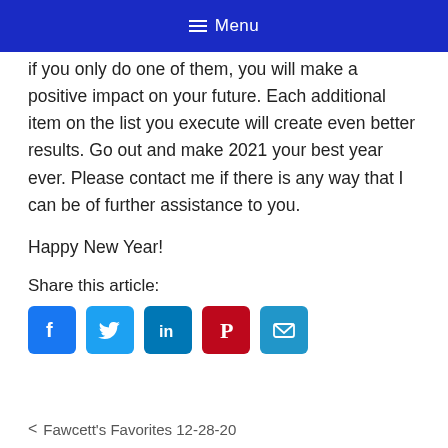Menu
if you only do one of them, you will make a positive impact on your future. Each additional item on the list you execute will create even better results. Go out and make 2021 your best year ever. Please contact me if there is any way that I can be of further assistance to you.
Happy New Year!
Share this article:
[Figure (infographic): Social media share icons: Facebook, Twitter, LinkedIn, Pinterest, Email]
< Fawcett's Favorites 12-28-20